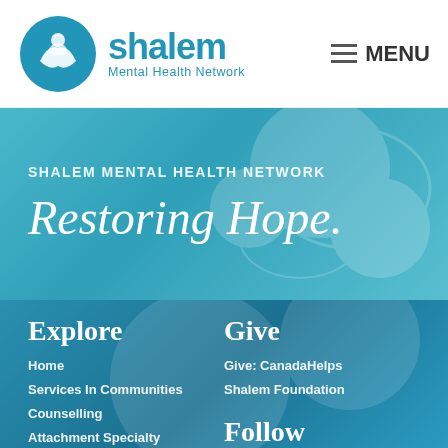[Figure (logo): Shalem Mental Health Network logo with teal bird/hands circular icon and teal text]
≡ MENU
SHALEM MENTAL HEALTH NETWORK
Restoring Hope.
Explore
Home
Services In Communities
Counselling
Attachment Specialty
Give
Give: CanadaHelps
Shalem Foundation
Follow
Facebook
Twitter
Search